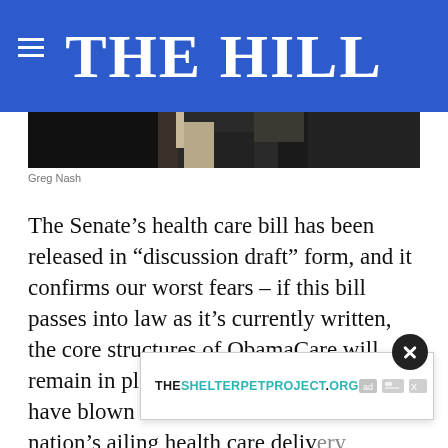THE HILL
[Figure (photo): Partial photograph of a person, dark toned image, bottom portion visible only]
Greg Nash
The Senate's health care bill has been released in “discussion draft” form, and it confirms our worst fears – if this bill passes into law as it’s currently written, the core structures of ObamaCare will remain in place, and Republicans will have blown their mandate to fix the nation’s ailing health care delivery system... senators... Texas), Mike Lee (R-Utah), and Ron Johnson (R-
[Figure (screenshot): Ad overlay banner for THESHELTERPETPROJECT.ORG with ad icons and close button]